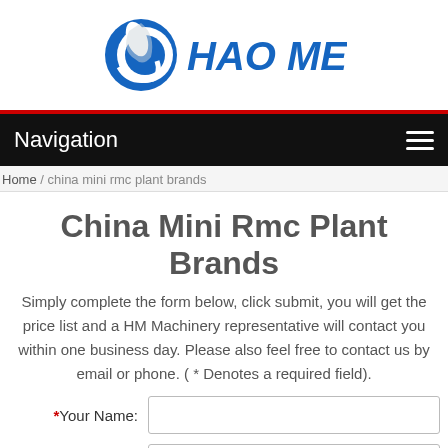[Figure (logo): Hao Mei company logo with blue circular emblem and blue italic text 'HAO MEI']
Navigation
Home / china mini rmc plant brands
China Mini Rmc Plant Brands
Simply complete the form below, click submit, you will get the price list and a HM Machinery representative will contact you within one business day. Please also feel free to contact us by email or phone. ( * Denotes a required field).
*Your Name:
*E-mail: Please input your email here, it is very important!
*Phone: